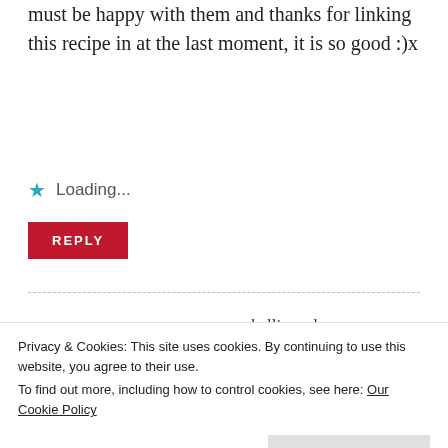must be happy with them and thanks for linking this recipe in at the last moment, it is so good :)x
Loading...
REPLY
kellie anderson says:
May 29, 2013 at 8:27 pm
You are too kind, Laura.
Privacy & Cookies: This site uses cookies. By continuing to use this website, you agree to their use.
To find out more, including how to control cookies, see here: Our Cookie Policy
Close and accept
it is growing prolifically right now, I